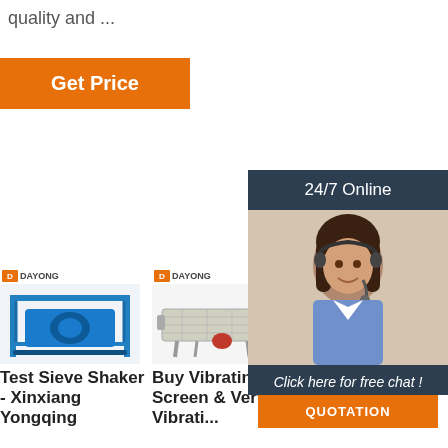quality and ...
[Figure (other): Orange 'Get Price' button]
[Figure (other): 24/7 Online chat overlay with customer service representative photo, 'Click here for free chat!' text, and orange QUOTATION button]
[Figure (photo): DAYONG branded machine - Test Sieve Shaker (blue industrial machinery on frame)]
Test Sieve Shaker - Xinxiang Yongqing
[Figure (photo): DAYONG branded machine - Buy Vibrating Screen & Vertical Vibrating machine (silver/grey screening table)]
Buy Vibrating Screen & Vertical Vibrati...
[Figure (photo): DA... branded machine (partially obscured by chat overlay)]
Wincom Company Ltd. - TOP Centrifuge